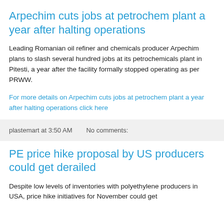Arpechim cuts jobs at petrochem plant a year after halting operations
Leading Romanian oil refiner and chemicals producer Arpechim plans to slash several hundred jobs at its petrochemicals plant in Pitesti, a year after the facility formally stopped operating as per PRWW.
For more details on Arpechim cuts jobs at petrochem plant a year after halting operations click here
plastemart at 3:50 AM   No comments:
PE price hike proposal by US producers could get derailed
Despite low levels of inventories with polyethylene producers in USA, price hike initiatives for November could get